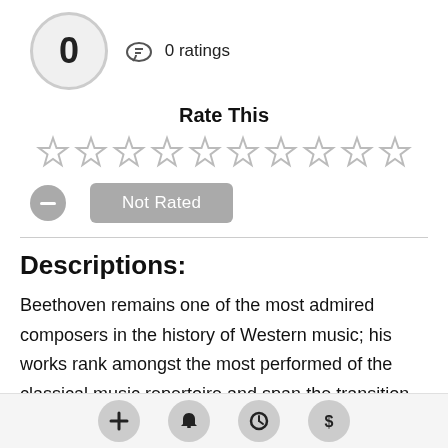0 ratings
Rate This
[Figure (other): 10 empty star rating icons in a row]
Not Rated
Descriptions:
Beethoven remains one of the most admired composers in the history of Western music; his works rank amongst the most performed of the classical music repertoire and span the transition from the Classical period to the Romantic era in classical music. His career has conventionally been divided
+ bell clock $